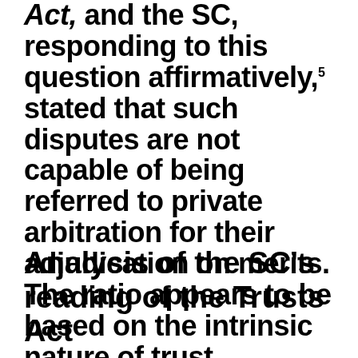Act, and the SC, responding to this question affirmatively,5 stated that such disputes are not capable of being referred to private arbitration for their adjudication on merits. The ratio appears to be based on the intrinsic nature of trust disputes, which are not capable of being treated as a right in rem inter se the trust and the beneficiaries.
Analysis of the SC's reading of the Trusts Act